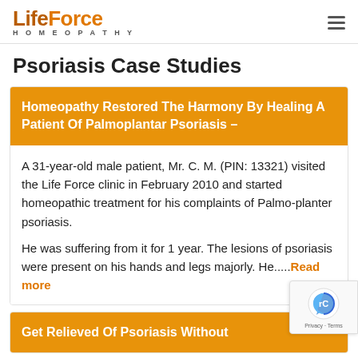Life Force Homeopathy [logo] [hamburger menu]
Psoriasis Case Studies
Homeopathy Restored The Harmony By Healing A Patient Of Palmoplantar Psoriasis –
A 31-year-old male patient, Mr. C. M. (PIN: 13321) visited the Life Force clinic in February 2010 and started homeopathic treatment for his complaints of Palmo-planter psoriasis.
He was suffering from it for 1 year. The lesions of psoriasis were present on his hands and legs majorly. He.....Read more
Get Relieved Of Psoriasis Without